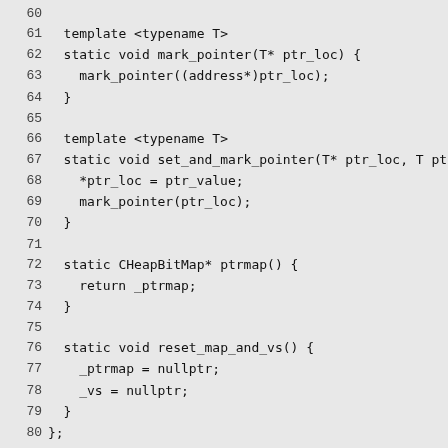Source code listing lines 60-89, C++ code for pointer marking and SharedDataRelocator class methods